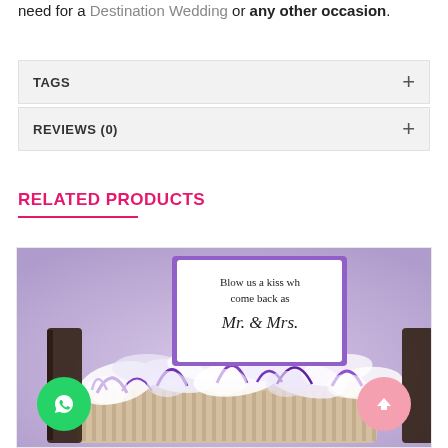need for a Destination Wedding or any other occasion.
TAGS +
REVIEWS (0) +
RELATED PRODUCTS
[Figure (photo): A basket with wedding favors wrapped in purple ribbons and white shredded paper, with a card reading 'Blow us a kiss when you come back as Mr. & Mrs.']